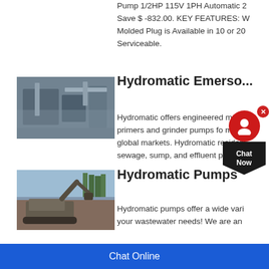Pump 1/2HP 115V 1PH Automatic 2 Save $ -832.00. KEY FEATURES: W Molded Plug is Available in 10 or 20 Serviceable.
[Figure (photo): Industrial pump or water treatment equipment with metal framework and pipes]
Hydromatic Emerson W
Hydromatic offers engineered m primers and grinder pumps fo m global markets. Hydromatic residen sewage, sump, and effluent pumps
[Figure (photo): Excavator or heavy construction machinery at a worksite with trees in background]
Hydromatic Pumps
Hydromatic pumps offer a wide vari your wastewater needs! We are an
Chat Online